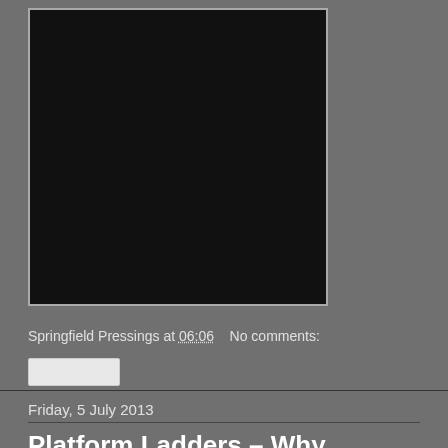[Figure (photo): A large dark/black rectangular image with a grey border, displayed in the upper-left area of the page against a grey background.]
Springfield Pressings at 06:06    No comments:
[Figure (other): A small white/light rectangular button or share widget element.]
Friday, 5 July 2013
Platform Ladders – Why Should You Use Them?
There are many reasons why you should use platform ladders for your business but one of the main reasons is the huge safety advantage that they offer. A ladder that has a platform can protect employees at height in...